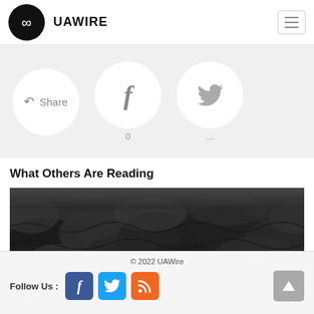UAWIRE
[Figure (infographic): Share bar with Share button, Facebook button (0 shares), and Twitter button (... tweets) on a light gray background]
What Others Are Reading
[Figure (photo): Close-up black and white photo of knitted fabric or woolly material]
© 2022 UAWire — Follow Us: Facebook, Twitter, RSS social icons